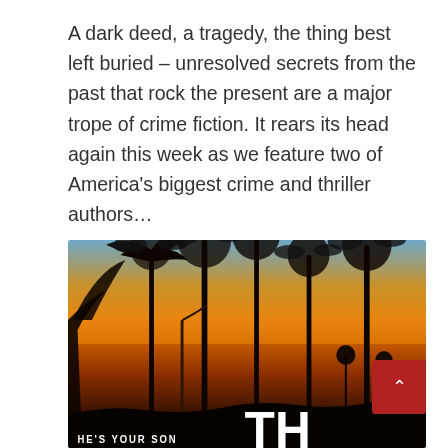A dark deed, a tragedy, the thing best left buried – unresolved secrets from the past that rock the present are a major trope of crime fiction. It rears its head again this week as we feature two of America's biggest crime and thriller authors…
[Figure (photo): Book cover or promotional image showing silhouettes of tall palm trees against a vivid orange and golden sunset sky. At the bottom of the image, text reads 'HE'S YOUR SON' and large white letters 'TH' are partially visible. A red scroll-to-top button with an upward chevron arrow appears in the bottom-right corner overlaying the image.]